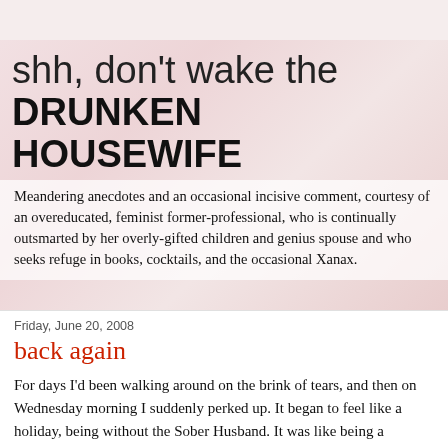shh, don't wake the DRUNKEN HOUSEWIFE
Meandering anecdotes and an occasional incisive comment, courtesy of an overeducated, feminist former-professional, who is continually outsmarted by her overly-gifted children and genius spouse and who seeks refuge in books, cocktails, and the occasional Xanax.
Friday, June 20, 2008
back again
For days I'd been walking around on the brink of tears, and then on Wednesday morning I suddenly perked up. It began to feel like a holiday, being without the Sober Husband. It was like being a teenager again, momentarily freed of the always critical and stern parental gaze. Iris and Lucy were being well-behaved, and we went to lunch with friends,